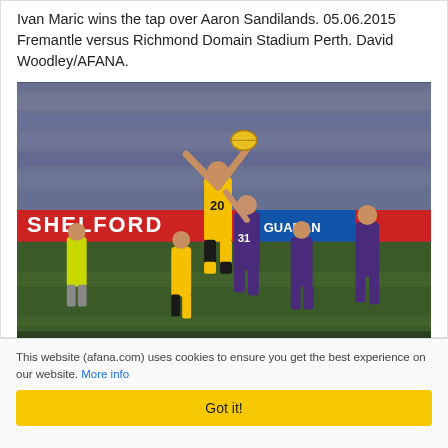Ivan Maric wins the tap over Aaron Sandilands. 05.06.2015 Fremantle versus Richmond Domain Stadium Perth. David Woodley/AFANA.
[Figure (photo): AFL football match photo: player in yellow and black Richmond jersey (#20) winning a tap-out contest over a Fremantle player (#31) in purple at Domain Stadium Perth. Umpire in yellow visible on left, other players and crowd in background. Shelford advertising banner visible.]
This website (afana.com) uses cookies to ensure you get the best experience on our website. More info
Got it!